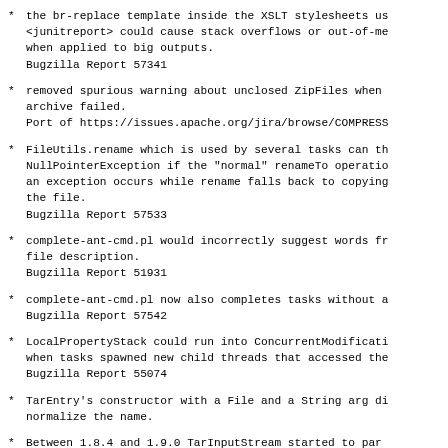the br-replace template inside the XSLT stylesheets us<br><junitreport> could cause stack overflows or out-of-me<br>when applied to big outputs.
Bugzilla Report 57341
removed spurious warning about unclosed ZipFiles when<br>archive failed.
Port of https://issues.apache.org/jira/browse/COMPRESS
FileUtils.rename which is used by several tasks can th<br>NullPointerException if the "normal" renameTo operatio<br>an exception occurs while rename falls back to copying<br>the file.
Bugzilla Report 57533
complete-ant-cmd.pl would incorrectly suggest words fr<br>file description.
Bugzilla Report 51931
complete-ant-cmd.pl now also completes tasks without a<br>Bugzilla Report 57542
LocalPropertyStack could run into ConcurrentModificati<br>when tasks spawned new child threads that accessed the<br>Bugzilla Report 55074
TarEntry's constructor with a File and a String arg di<br>normalize the name.
Between 1.8.4 and 1.9.0 TarInputStream started to par